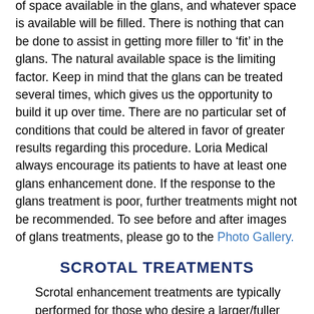of space available in the glans, and whatever space is available will be filled. There is nothing that can be done to assist in getting more filler to 'fit' in the glans. The natural available space is the limiting factor. Keep in mind that the glans can be treated several times, which gives us the opportunity to build it up over time. There are no particular set of conditions that could be altered in favor of greater results regarding this procedure. Loria Medical always encourage its patients to have at least one glans enhancement done. If the response to the glans treatment is poor, further treatments might not be recommended. To see before and after images of glans treatments, please go to the Photo Gallery.
SCROTAL TREATMENTS
Scrotal enhancement treatments are typically performed for those who desire a larger/fuller scrotal appearance or have a